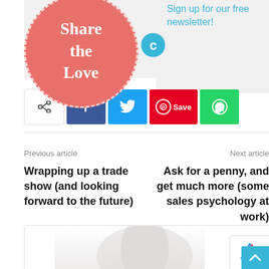[Figure (infographic): Share the Love circle badge in salmon/coral red color with dashed white border, overlapping social share buttons area]
Sign up for our free newsletter!
[Figure (infographic): Social share buttons: generic share icon (white), Facebook (dark blue with f), Twitter (light blue with bird), Pinterest Save (red with pin circle and Save label), WhatsApp (green with phone icon)]
Previous article
Next article
Wrapping up a trade show (and looking forward to the future)
Ask for a penny, and get much more (some sales psychology at work)
[Figure (photo): Partially visible faded photo at bottom of page, appears to show a person or object, mostly white/faded]
[Figure (infographic): reCAPTCHA widget showing blue reCAPTCHA logo and Priv... label]